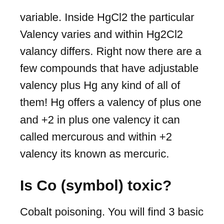variable. Inside HgCl2 the particular Valency varies and within Hg2Cl2 valancy differs. Right now there are a few compounds that have adjustable valency plus Hg any kind of all of them! Hg offers a valency of plus one and +2 in plus one valency it can called mercurous and within +2 valency its known as mercuric.
Is Co (symbol) toxic?
Cobalt poisoning. You will find 3 basic methods that co (symbol) can trigger poisoning. A person can take too a lot of this, breathe a lot of into your own lungs, or even have this come within constant get in touch with the particular skin.